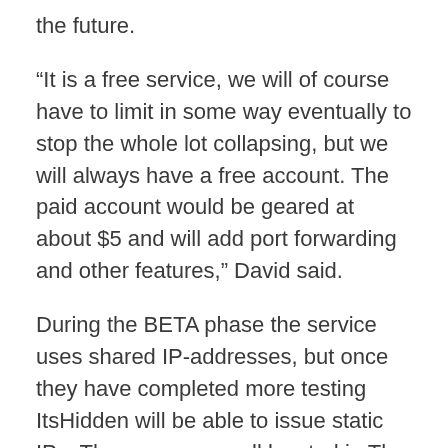the future.
“It is a free service, we will of course have to limit in some way eventually to stop the whole lot collapsing, but we will always have a free account. The paid account would be geared at about $5 and will add port forwarding and other features,” David said.
During the BETA phase the service uses shared IP-addresses, but once they have completed more testing ItsHidden will be able to issue static IPs. The servers are all located in The Netherlands at present, but they will spread to other locations once the service is out of BETA.